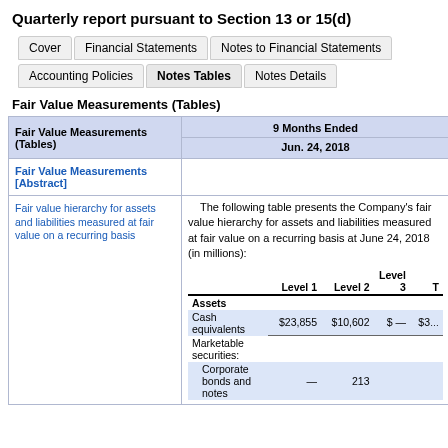Quarterly report pursuant to Section 13 or 15(d)
Cover | Financial Statements | Notes to Financial Statements | Accounting Policies | Notes Tables | Notes Details
Fair Value Measurements (Tables)
| Fair Value Measurements (Tables) | 9 Months Ended Jun. 24, 2018 |
| --- | --- |
| Fair Value Measurements [Abstract] |  |
| Fair value hierarchy for assets and liabilities measured at fair value on a recurring basis | The following table presents the Company's fair value hierarchy for assets and liabilities measured at fair value on a recurring basis at June 24, 2018 (in millions):
Level 1  Level 2  Level 3  T
Assets
Cash equivalents  $23,855  $10,602  $ —  $3...
Marketable securities:
Corporate bonds and notes  —  213  ... |